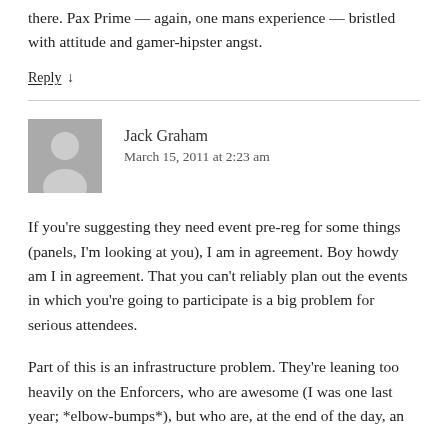there. Pax Prime — again, one mans experience — bristled with attitude and gamer-hipster angst.
Reply ↓
Jack Graham
March 15, 2011 at 2:23 am
If you're suggesting they need event pre-reg for some things (panels, I'm looking at you), I am in agreement. Boy howdy am I in agreement. That you can't reliably plan out the events in which you're going to participate is a big problem for serious attendees.
Part of this is an infrastructure problem. They're leaning too heavily on the Enforcers, who are awesome (I was one last year; *elbow-bumps*), but who are, at the end of the day, an